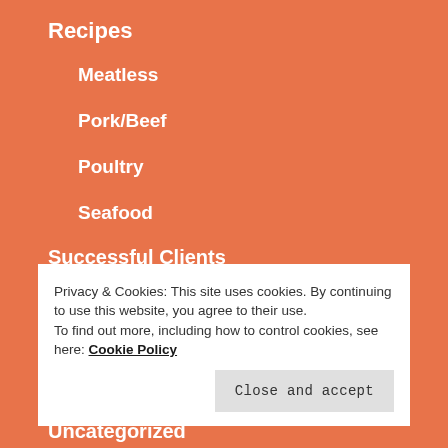Recipes
Meatless
Pork/Beef
Poultry
Seafood
Successful Clients
Privacy & Cookies: This site uses cookies. By continuing to use this website, you agree to their use.
To find out more, including how to control cookies, see here: Cookie Policy
Close and accept
Uncategorized